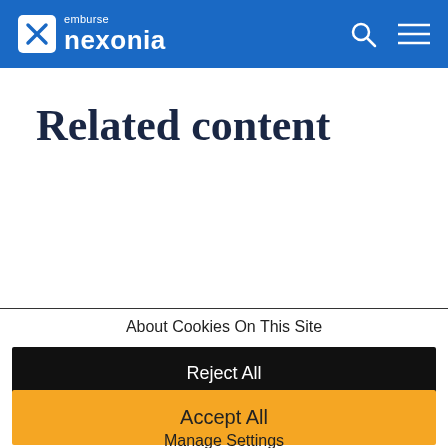emburse nexonia
Related content
About Cookies On This Site
Reject All
Accept All
Manage Settings